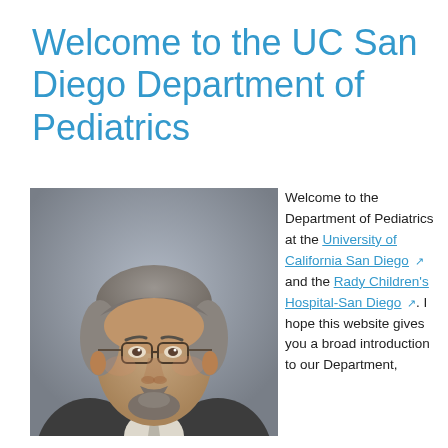Welcome to the UC San Diego Department of Pediatrics
[Figure (photo): Professional headshot of a middle-aged man with gray hair, beard, and glasses, wearing a dark suit jacket with a light gray tie, against a neutral gray background.]
Welcome to the Department of Pediatrics at the University of California San Diego and the Rady Children's Hospital-San Diego. I hope this website gives you a broad introduction to our Department,